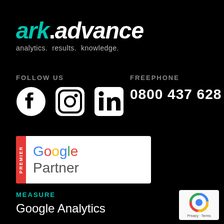ark.advance — analytics. results. knowledge.
FOLLOW US
[Figure (logo): Facebook logo icon (white on black circle)]
[Figure (logo): Instagram logo icon (white on black rounded square)]
[Figure (logo): LinkedIn logo icon (white on black rounded square)]
FREEPHONE
0800 437 628
[Figure (logo): Google Premier Partner badge with red PREMIER sidebar and Google Partner text]
MEASURE
Google Analytics
[Figure (logo): Google reCAPTCHA badge with Privacy and Terms text]